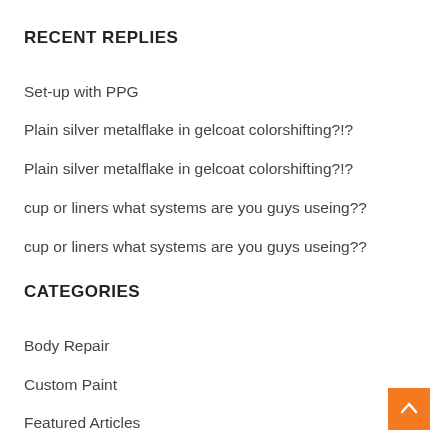RECENT REPLIES
Set-up with PPG
Plain silver metalflake in gelcoat colorshifting?!?
Plain silver metalflake in gelcoat colorshifting?!?
cup or liners what systems are you guys useing??
cup or liners what systems are you guys useing??
CATEGORIES
Body Repair
Custom Paint
Featured Articles